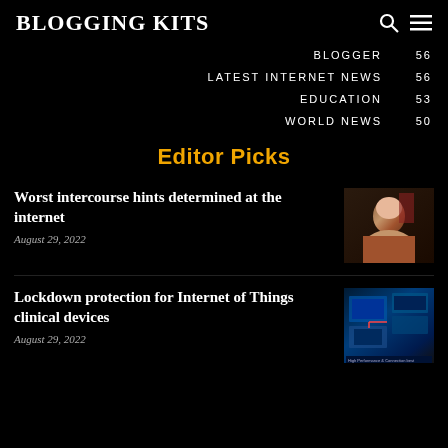BLOGGING KITS
BLOGGER 56
LATEST INTERNET NEWS 56
EDUCATION 53
WORLD NEWS 50
Editor Picks
Worst intercourse hints determined at the internet
August 29, 2022
[Figure (photo): Photo of a person]
Lockdown protection for Internet of Things clinical devices
August 29, 2022
[Figure (screenshot): Technology/IoT devices screenshot]